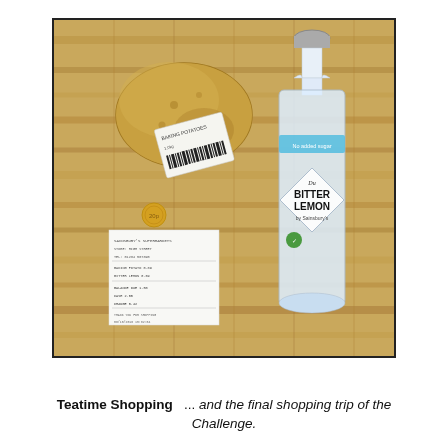[Figure (photo): A photo showing a potato with a store label, a large clear plastic bottle of Sainsbury's Bitter Lemon (no added sugar), a shopping receipt, and a small coin, all laid out on a wooden cutting board surface.]
Teatime Shopping  ...  and the final shopping trip of the Challenge.